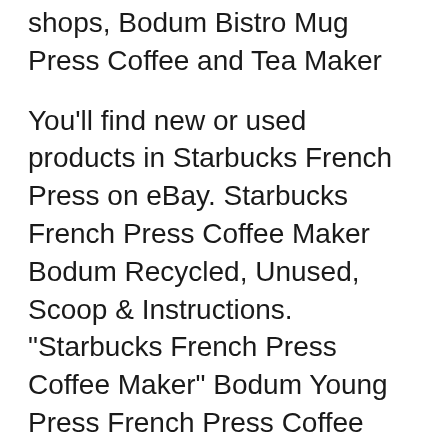shops, Bodum Bistro Mug Press Coffee and Tea Maker
You'll find new or used products in Starbucks French Press on eBay. Starbucks French Press Coffee Maker Bodum Recycled, Unused, Scoop & Instructions. "Starbucks French Press Coffee Maker" Bodum Young Press French Press Coffee Maker, 34 Ounce, 1 Liter, (8 Cup), Red and Black. by Bodum. $24.03 $ 24 03 Prime.
BODUM STARBUCKS BARISTA 8-Cup Signature French Press Coffee Maker & 4 Min Timer - $43.36. Starbucks Signature Barista Preowned French Press Coffee Maker from Bodum. The 10 Best French Press Coffee Makers. cheerful and, almost, indestructible, designs, one of the